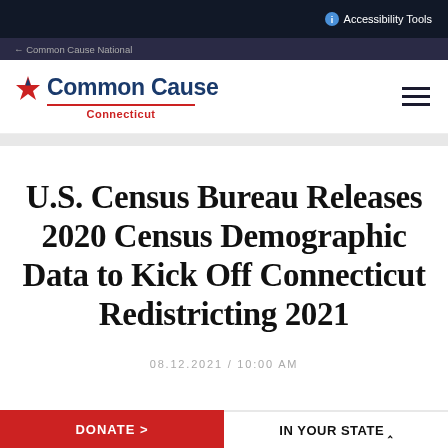Accessibility Tools
[Figure (logo): Common Cause Connecticut logo with red star and blue text]
U.S. Census Bureau Releases 2020 Census Demographic Data to Kick Off Connecticut Redistricting 2021
08.12.2021 / 10:00 AM
DONATE > | IN YOUR STATE ^